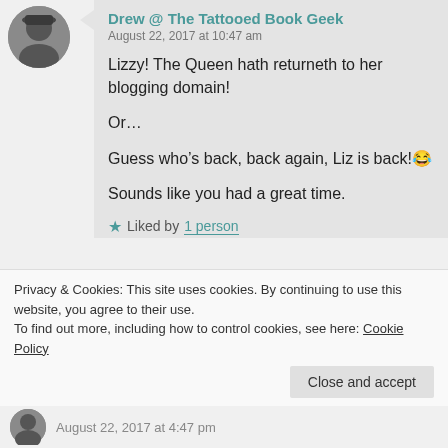[Figure (photo): Avatar photo of a person wearing a hat, circular crop]
Drew @ The Tattooed Book Geek
August 22, 2017 at 10:47 am
Lizzy! The Queen hath returneth to her blogging domain!
Or…
Guess who's back, back again, Liz is back! 😂
Sounds like you had a great time.
★ Liked by 1 person
Reply
Privacy & Cookies: This site uses cookies. By continuing to use this website, you agree to their use.
To find out more, including how to control cookies, see here: Cookie Policy
Close and accept
August 22, 2017 at 4:47 pm